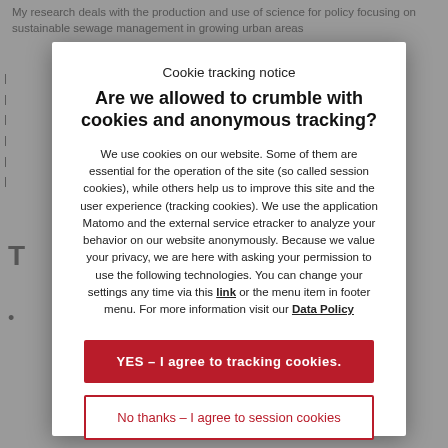My research deals with the production and use of science for policy focusing on sustainable sewage management in growing urban areas
Cookie tracking notice
Are we allowed to crumble with cookies and anonymous tracking?
We use cookies on our website. Some of them are essential for the operation of the site (so called session cookies), while others help us to improve this site and the user experience (tracking cookies). We use the application Matomo and the external service etracker to analyze your behavior on our website anonymously. Because we value your privacy, we are here with asking your permission to use the following technologies. You can change your settings any time via this link or the menu item in footer menu. For more information visit our Data Policy
YES – I agree to tracking cookies.
No thanks – I agree to session cookies